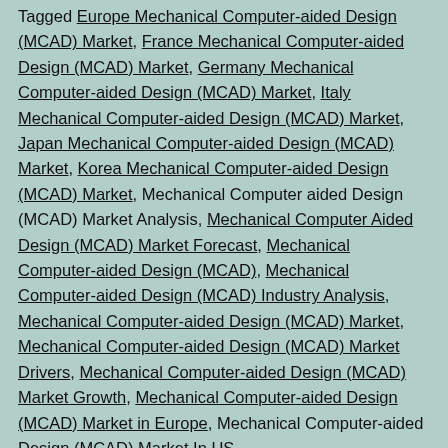Tagged Europe Mechanical Computer-aided Design (MCAD) Market, France Mechanical Computer-aided Design (MCAD) Market, Germany Mechanical Computer-aided Design (MCAD) Market, Italy Mechanical Computer-aided Design (MCAD) Market, Japan Mechanical Computer-aided Design (MCAD) Market, Korea Mechanical Computer-aided Design (MCAD) Market, Mechanical Computer aided Design (MCAD) Market Analysis, Mechanical Computer Aided Design (MCAD) Market Forecast, Mechanical Computer-aided Design (MCAD), Mechanical Computer-aided Design (MCAD) Industry Analysis, Mechanical Computer-aided Design (MCAD) Market, Mechanical Computer-aided Design (MCAD) Market Drivers, Mechanical Computer-aided Design (MCAD) Market Growth, Mechanical Computer-aided Design (MCAD) Market in Europe, Mechanical Computer-aided Design (MCAD) Market In US,